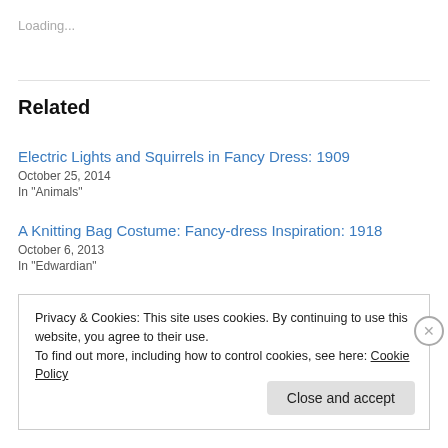Loading...
Related
Electric Lights and Squirrels in Fancy Dress: 1909
October 25, 2014
In "Animals"
A Knitting Bag Costume: Fancy-dress Inspiration: 1918
October 6, 2013
In "Edwardian"
Privacy & Cookies: This site uses cookies. By continuing to use this website, you agree to their use.
To find out more, including how to control cookies, see here: Cookie Policy
Close and accept